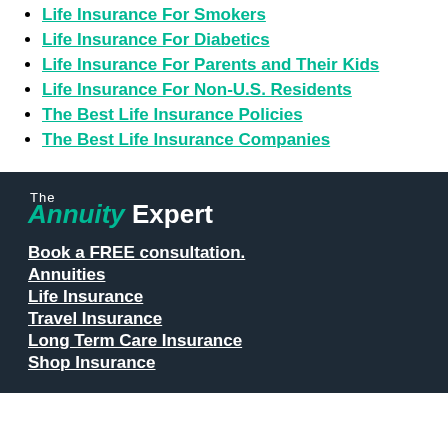Life Insurance For Smokers
Life Insurance For Diabetics
Life Insurance For Parents and Their Kids
Life Insurance For Non-U.S. Residents
The Best Life Insurance Policies
The Best Life Insurance Companies
[Figure (logo): The Annuity Expert logo — 'The' in small white text above 'Annuity' in teal italic and 'Expert' in white, bold sans-serif]
Book a FREE consultation.
Annuities
Life Insurance
Travel Insurance
Long Term Care Insurance
Shop Insurance